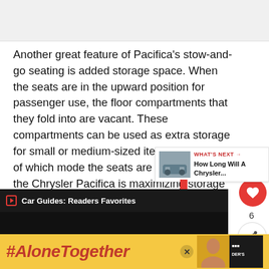[Figure (photo): Top image area (partially visible, appears light gray/white)]
Another great feature of Pacifica's stow-and-go seating is added storage space. When the seats are in the upward position for passenger use, the floor compartments that they fold into are vacant. These compartments can be used as extra storage for small or medium-sized items. Regardless of which mode the seats are in, up or down, the Chrysler Pacifica is maximizing storage capabilities.
[Figure (infographic): Social sharing UI: heart/like button (red circle) with count 6, and share button below]
[Figure (infographic): What's Next panel with car thumbnail image and text: WHAT'S NEXT → How Long Will A Chrysler...]
[Figure (screenshot): Car Guides: Readers Favorites dark bar with link icon]
[Figure (screenshot): Bottom ad banner: #AloneTogether in red italic on yellow background, with close button, person photo, and READER'S logo]